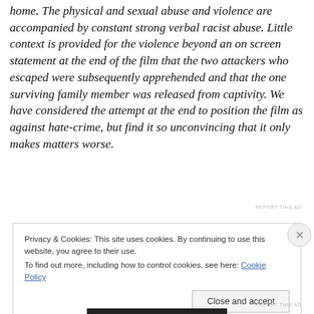home. The physical and sexual abuse and violence are accompanied by constant strong verbal racist abuse. Little context is provided for the violence beyond an on screen statement at the end of the film that the two attackers who escaped were subsequently apprehended and that the one surviving family member was released from captivity. We have considered the attempt at the end to position the film as against hate-crime, but find it so unconvincing that it only makes matters worse.
REPORT THIS AD
Privacy & Cookies: This site uses cookies. By continuing to use this website, you agree to their use.
To find out more, including how to control cookies, see here: Cookie Policy
Close and accept